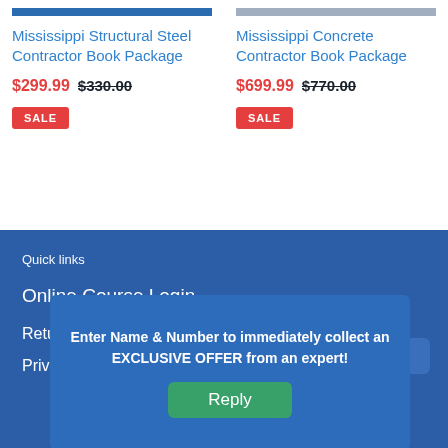Mississippi Structural Steel Contractor Book Package
$299.99  $330.00  SALE
Mississippi Concrete Contractor Book Package
$699.99  $770.00  SALE
Quick links
Online Course Login
Retu
Priva
Enter Name & Number to immediately collect an EXCLUSIVE OFFER from an expert!
Reply